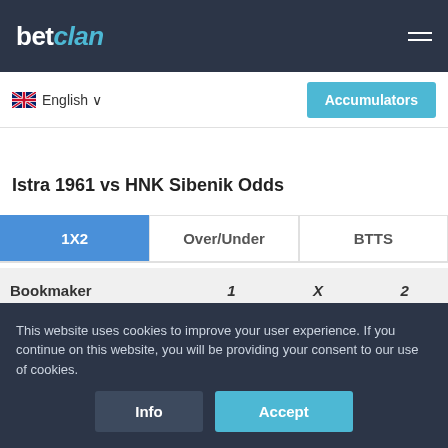betclan
English
Accumulators
Istra 1961 vs HNK Sibenik Odds
| Bookmaker | 1 | X | 2 |
| --- | --- | --- | --- |
| 188Bet | 1.84 | 3.40 | 3.55 |
| Bet365 | 1.72 | 3.60 | 3.80 |
This website uses cookies to improve your user experience. If you continue on this website, you will be providing your consent to our use of cookies.